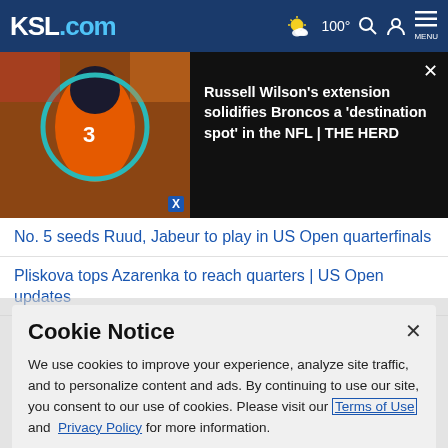KSL.com | 100° [weather icon] [search] [account] MENU
[Figure (screenshot): Video thumbnail showing Russell Wilson (#3) in Denver Broncos orange jersey with teal circle overlay]
Russell Wilson's extension solidifies Broncos a 'destination spot' in the NFL | THE HERD
No. 5 seeds Ruud, Jabeur to play in US Open quarterfinals
Pliskova tops Azarenka to reach quarters | US Open updates
[partially visible headline]
Cookie Notice
We use cookies to improve your experience, analyze site traffic, and to personalize content and ads. By continuing to use our site, you consent to our use of cookies. Please visit our Terms of Use and Privacy Policy for more information.
Continue